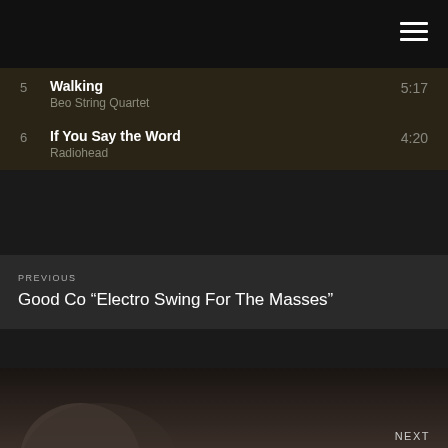[Figure (screenshot): Hamburger menu icon (three white horizontal lines) in top-right corner on black background]
5  Walking  5:17  Beo String Quartet
6  If You Say the Word  4:20  Radiohead
PREVIOUS
Good Co "Electro Swing For The Masses"
[Figure (photo): Dark photo of a person partially visible at bottom of page]
NEXT